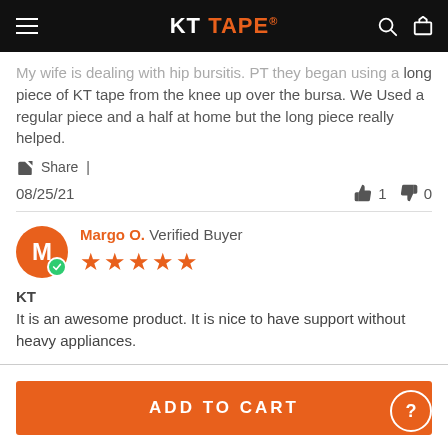KT TAPE
My wife is dealing with hip bursitis. PT they began using a long piece of KT tape from the knee up over the bursa. We Used a regular piece and a half at home but the long piece really helped.
Share |
08/25/21   👍 1   👎 0
Margo O. Verified Buyer — 5 stars — KT — It is an awesome product. It is nice to have support without heavy appliances.